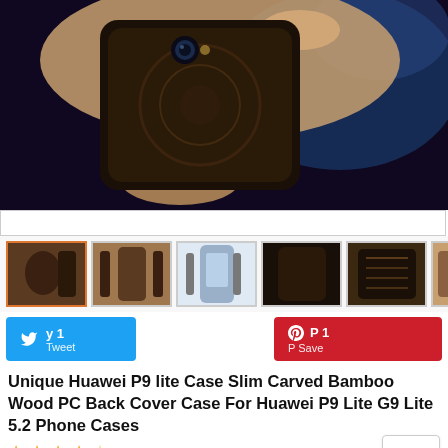[Figure (photo): Hand holding a Huawei P9 lite phone with a carved dark bamboo wood case, shown close-up against a dark blurred background]
[Figure (photo): Row of product thumbnail images showing various angles and styles of the bamboo wood phone cases]
[Figure (other): Twitter share button (blue) and Pinterest save button (red)]
Unique Huawei P9 lite Case Slim Carved Bamboo Wood PC Back Cover Case For Huawei P9 Lite G9 Lite 5.2 Phone Cases
98% of buyers enjoyed this product! 107 orders
List price: US $19.98
Price: US $15.98